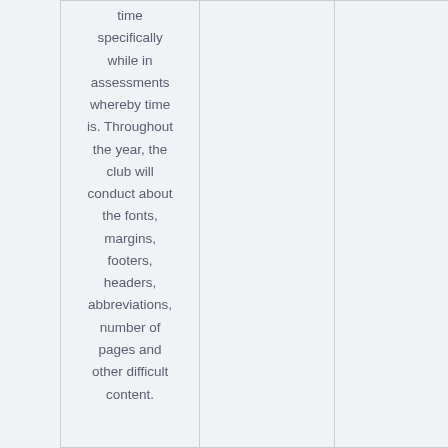| time specifically while in assessments whereby time is. Throughout the year, the club will conduct about the fonts, margins, footers, headers, abbreviations, number of pages and other difficult content. |  |  |